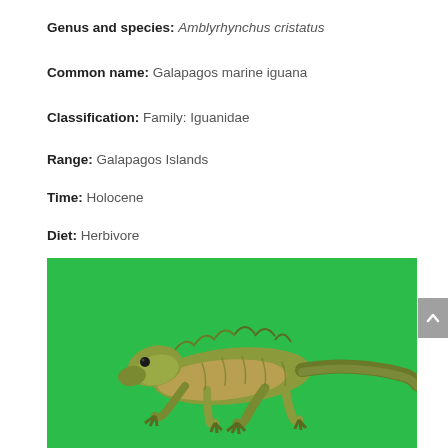Genus and species: Amblyrhynchus cristatus
Common name: Galapagos marine iguana
Classification: Family: Iguanidae
Range: Galapagos Islands
Time: Holocene
Diet: Herbivore
[Figure (photo): A toy/model figure of a Galapagos marine iguana (Amblyrhynchus cristatus) posed on a bright green background. The figure is olive-green and brown, showing the iguana in a crawling position with its tail extended.]